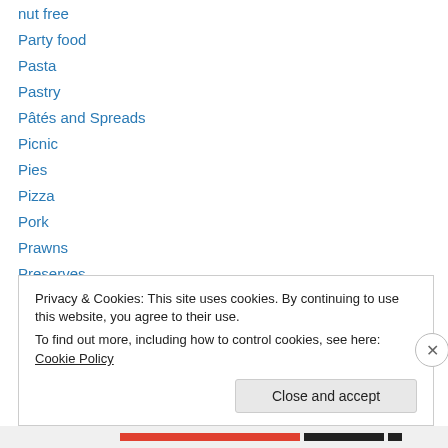nut free
Party food
Pasta
Pastry
Pâtés and Spreads
Picnic
Pies
Pizza
Pork
Prawns
Preserves
Pudding
Pulses
Privacy & Cookies: This site uses cookies. By continuing to use this website, you agree to their use.
To find out more, including how to control cookies, see here: Cookie Policy